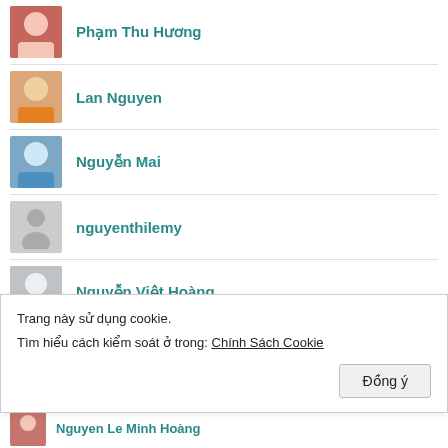Phạm Thu Hương
Lan Nguyen
Nguyễn Mai
nguyenthilemy
Nguyễn Việt Hoàng
Phạm Thu Hường
Trang này sử dụng cookie.
Tìm hiểu cách kiểm soát ở trong: Chính Sách Cookie
Nguyen Le Minh Hoàng